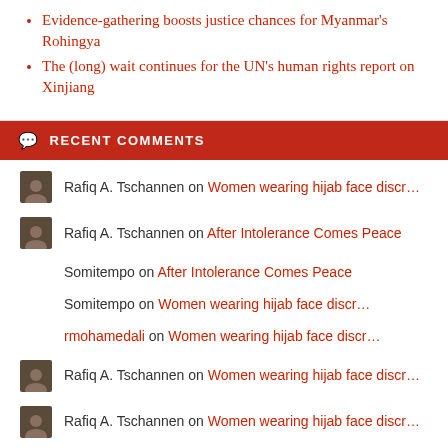Evidence-gathering boosts justice chances for Myanmar's Rohingya
The (long) wait continues for the UN's human rights report on Xinjiang
RECENT COMMENTS
Rafiq A. Tschannen on Women wearing hijab face discr…
Rafiq A. Tschannen on After Intolerance Comes Peace
Somitempo on After Intolerance Comes Peace
Somitempo on Women wearing hijab face discr…
rmohamedali on Women wearing hijab face discr…
Rafiq A. Tschannen on Women wearing hijab face discr…
Rafiq A. Tschannen on Women wearing hijab face discr…
Zia H Shah on Ted Talk: How cults rewire the…